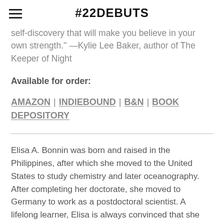#22DEBUTS
self-discovery that will make you believe in your own strength." —Kylie Lee Baker, author of The Keeper of Night
Available for order:
AMAZON | INDIEBOUND | B&N | BOOK DEPOSITORY
Elisa A. Bonnin was born and raised in the Philippines, after which she moved to the United States to study chemistry and later oceanography. After completing her doctorate, she moved to Germany to work as a postdoctoral scientist. A lifelong learner, Elisa is always convinced that she should "maybe take a class in